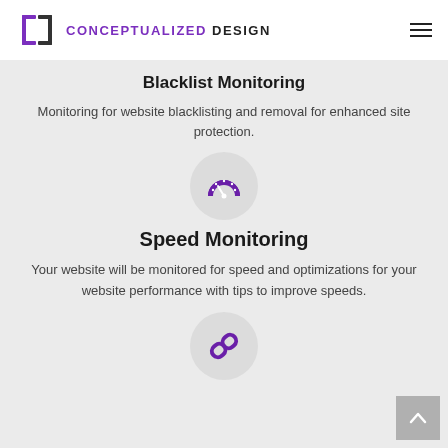Conceptualized Design
Blacklist Monitoring
Monitoring for website blacklisting and removal for enhanced site protection.
[Figure (illustration): Purple speedometer/dashboard icon inside a light gray circle]
Speed Monitoring
Your website will be monitored for speed and optimizations for your website performance with tips to improve speeds.
[Figure (illustration): Purple chain link icon inside a light gray circle]